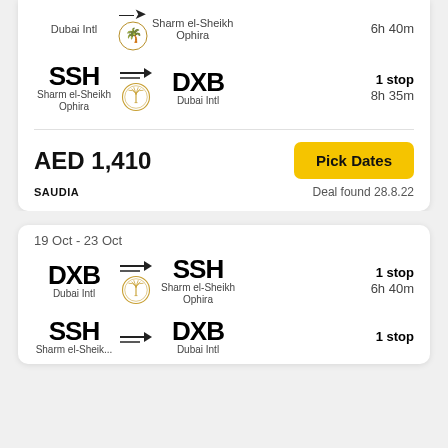Dubai Intl → Sharm el-Sheikh Ophira, 1 stop, 6h 40m (partial, top card)
SSH → DXB, Sharm el-Sheikh Ophira → Dubai Intl, 1 stop, 8h 35m
AED 1,410
SAUDIA
Deal found 28.8.22
19 Oct - 23 Oct
DXB → SSH, Dubai Intl → Sharm el-Sheikh Ophira, 1 stop, 6h 40m
SSH → DXB, 1 stop (partial)